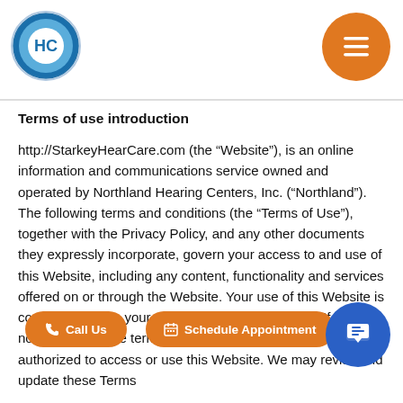Starkey HearCare logo and navigation menu
Terms of use introduction
http://StarkeyHearCare.com (the “Website”), is an online information and communications service owned and operated by Northland Hearing Centers, Inc. (“Northland”). The following terms and conditions (the “Terms of Use”), together with the Privacy Policy, and any other documents they expressly incorporate, govern your access to and use of this Website, including any content, functionality and services offered on or through the Website. Your use of this Website is conditioned upon your acceptance of these Terms. If you do not agree to these terms and conditions, you are not authorized to access or use this Website. We may revise and update these Terms